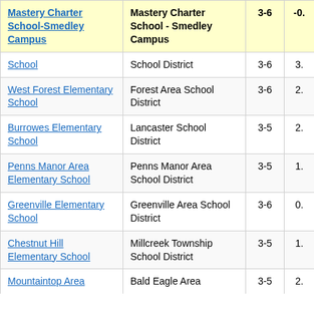| School Name | District | Grades | Score |
| --- | --- | --- | --- |
| Mastery Charter School-Smedley Campus | Mastery Charter School - Smedley Campus | 3-6 | -0. |
| School | School District | 3-6 | 3. |
| West Forest Elementary School | Forest Area School District | 3-6 | 2. |
| Burrowes Elementary School | Lancaster School District | 3-5 | 2. |
| Penns Manor Area Elementary School | Penns Manor Area School District | 3-5 | 1. |
| Greenville Elementary School | Greenville Area School District | 3-6 | 0. |
| Chestnut Hill Elementary School | Millcreek Township School District | 3-5 | 1. |
| Mountaintop Area | Bald Eagle Area | 3-5 | 2. |